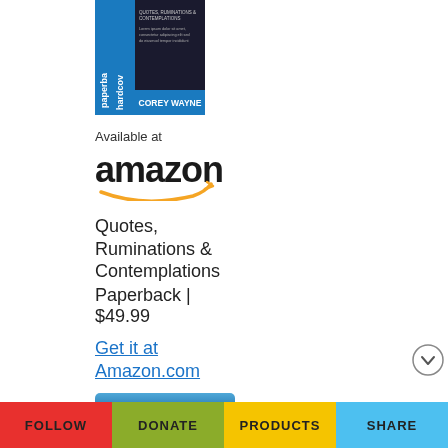[Figure (photo): Book cover for Quotes, Ruminations & Contemplations by Corey Wayne, showing paperback and hardcover labels]
Available at
[Figure (logo): Amazon logo with orange arrow swoosh]
Quotes, Ruminations & Contemplations Paperback | $49.99
Get it at Amazon.com
BUY NOW
Quotes, Ruminations & Contemplations Hardcover | $99.99
Get it at
FOLLOW   DONATE   PRODUCTS   SHARE